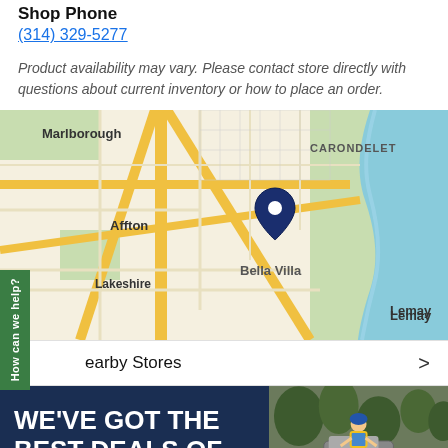Shop Phone
(314) 329-5277
Product availability may vary. Please contact store directly with questions about current inventory or how to place an order.
[Figure (map): Google Maps view showing Bella Villa, MO area with pin marker. Shows neighborhoods: Marlborough, Affton, Lakeshire, CARONDELET, Bella Villa, Lemay. Blue river on right side.]
Nearby Stores
WE'VE GOT THE BEST DEALS OF